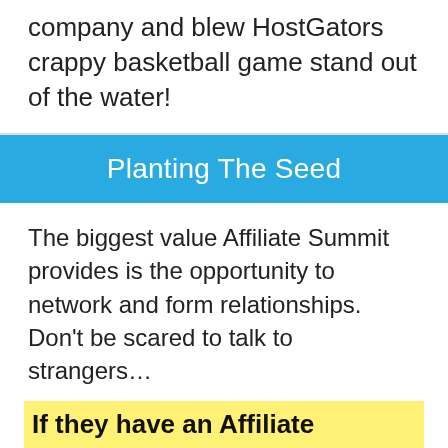company and blew HostGators crappy basketball game stand out of the water!
Planting The Seed
The biggest value Affiliate Summit provides is the opportunity to network and form relationships. Don't be scared to talk to strangers…
If they have an Affiliate Summit badge they want to talk.
It's easy to shy away from people but approach the conference with an open mind and speak to as many people as you can, you never know